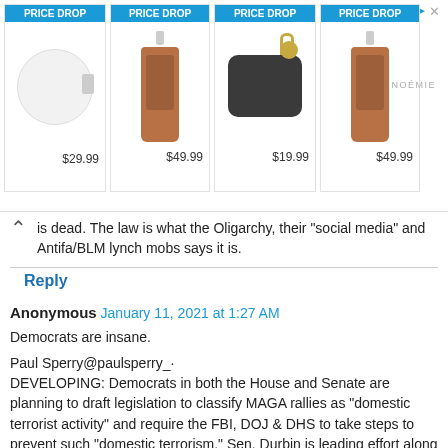[Figure (screenshot): Advertisement banner showing four items with PRICE DROP badges: a round white coin purse ($29.99), a brown phone strap ($49.99), a black AirPods case with gold keyring ($19.99), and a brown phone strap ($49.99). Noemie brand logo on the right side. Forward arrow icon in top right.]
is dead. The law is what the Oligarchy, their "social media" and Antifa/BLM lynch mobs says it is.
Reply
Anonymous January 11, 2021 at 1:27 AM
Democrats are insane.
Paul Sperry@paulsperry_·
DEVELOPING: Democrats in both the House and Senate are planning to draft legislation to classify MAGA rallies as "domestic terrorist activity" and require the FBI, DOJ & DHS to take steps to prevent such "domestic terrorism." Sen. Durbin is leading effort along with Rep Schneider.